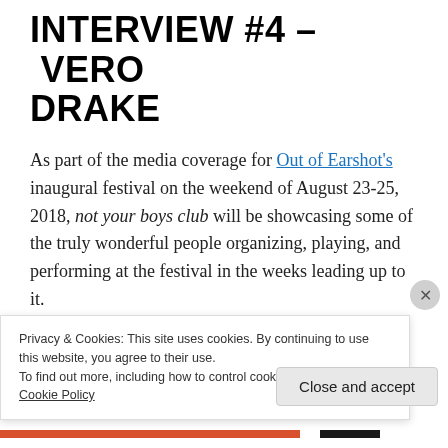INTERVIEW #4 – VERO DRAKE
As part of the media coverage for Out of Earshot's inaugural festival on the weekend of August 23-25, 2018, not your boys club will be showcasing some of the truly wonderful people organizing, playing, and performing at the festival in the weeks leading up to it.
For the fourth installment of this interview
Privacy & Cookies: This site uses cookies. By continuing to use this website, you agree to their use.
To find out more, including how to control cookies, see here:
Cookie Policy
Close and accept